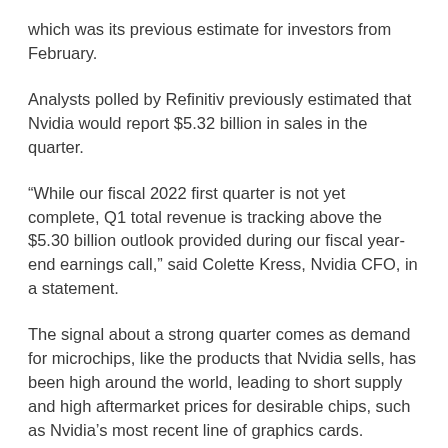which was its previous estimate for investors from February.
Analysts polled by Refinitiv previously estimated that Nvidia would report $5.32 billion in sales in the quarter.
“While our fiscal 2022 first quarter is not yet complete, Q1 total revenue is tracking above the $5.30 billion outlook provided during our fiscal year-end earnings call,” said Colette Kress, Nvidia CFO, in a statement.
The signal about a strong quarter comes as demand for microchips, like the products that Nvidia sells, has been high around the world, leading to short supply and high aftermarket prices for desirable chips, such as Nvidia’s most recent line of graphics cards. Nvidia’s total revenue in its calendar 2020 was up 61%.